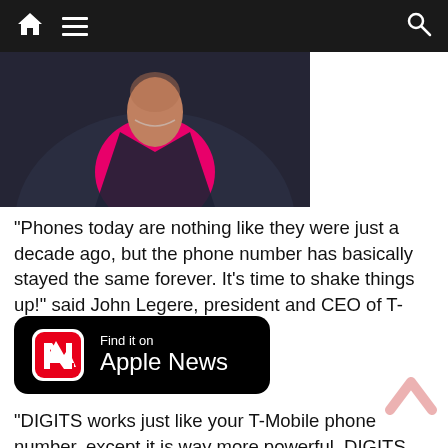Navigation bar with home, menu, and search icons
[Figure (photo): Partial photo of a person wearing a bright pink/magenta shirt under a dark blazer, with a necklace or earpiece visible, against a dark background]
“Phones today are nothing like they were just a decade ago, but the phone number has basically stayed the same forever. It’s time to shake things up!” said John Legere, president and CEO of T-Mobile.
[Figure (logo): Find it on Apple News badge — black rounded rectangle with Apple News icon (red and white N logo) and text 'Find it on Apple News']
“DIGITS works just like your T-Mobile phone number, except it is way more powerful. DIGITS works across virtually all your devices, and those devices can have multiple numbers on them. And